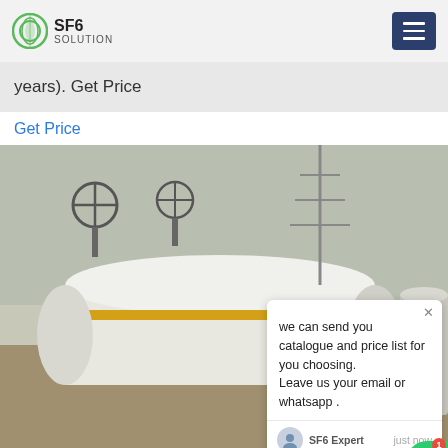SF6 SOLUTION
years). Get Price
Get Price
[Figure (photo): Industrial worker in blue coveralls working on large white cylindrical SF6 equipment at a substation. Power transmission towers visible in background. Chat popup overlay visible on right side showing message: 'we can send you catalogue and price list for you choosing. Leave us your email or whatsapp .' with SF6 Expert agent and 'just now' timestamp. SF6China watermark in orange at bottom right.]